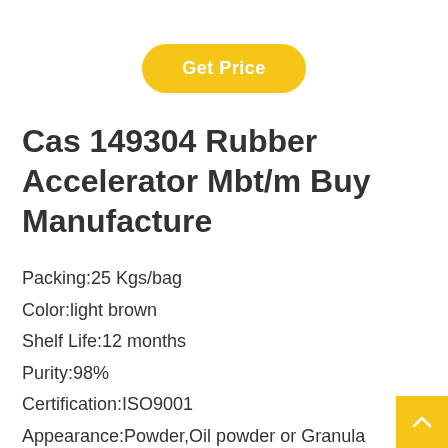[Figure (other): Yellow rounded button with white text 'Get Price']
Cas 149304 Rubber Accelerator Mbt/m Buy Manufacture
Packing:25 Kgs/bag
Color:light brown
Shelf Life:12 months
Purity:98%
Certification:ISO9001
Appearance:Powder,Oil powder or Granula